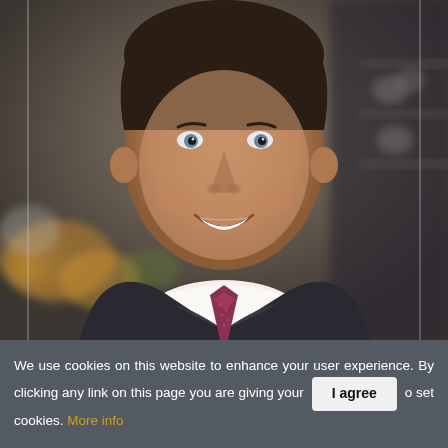[Figure (photo): Headshot of a smiling man in a dark suit with a purple/maroon patterned tie, shot in front of a blurred grocery store or market background with colorful produce visible.]
We use cookies on this website to enhance your user experience. By clicking any link on this page you are giving your [I agree] o set cookies. More info